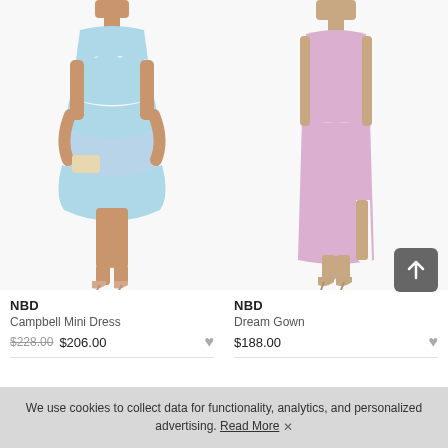[Figure (photo): Model wearing NBD Campbell Mini Dress in light blue, a short ruffled mini dress with spaghetti straps and sweetheart neckline]
[Figure (photo): Model wearing NBD Dream Gown in lavender/lilac, a strapless maxi gown with a side slit]
NBD
Campbell Mini Dress
$228.00 $206.00
NBD
Dream Gown
$188.00
We use cookies to collect data for functionality, analytics, and personalized advertising. Read More